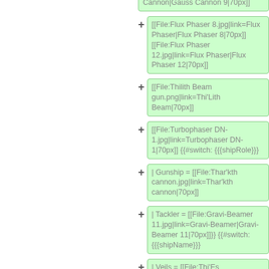Cannon|Gauss Cannon 9|70px]]
[[File:Flux Phaser 8.jpg|link=Flux Phaser|Flux Phaser 8|70px]] [[File:Flux Phaser 12.jpg|link=Flux Phaser|Flux Phaser 12|70px]]
[[File:Thilith Beam gun.png|link=Thi'Lith Beam|70px]]
[[File:Turbophaser DN-1.jpg|link=Turbophaser DN-1|70px]] {{#switch: {{{shipRole}}}
| Gunship = [[File:Thar'kth cannon.jpg|link=Thar'kth cannon|70px]]
| Tackler = [[File:Gravi-Beamer 11.jpg|link=Gravi-Beamer|Gravi-Beamer 11|70px]]}} {{#switch: {{{shipName}}}
| Veils = [[File:Thi'Es